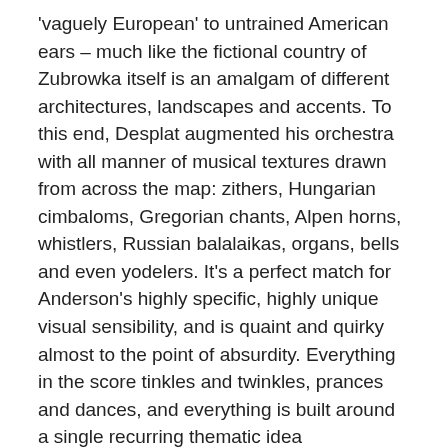'vaguely European' to untrained American ears – much like the fictional country of Zubrowka itself is an amalgam of different architectures, landscapes and accents. To this end, Desplat augmented his orchestra with all manner of musical textures drawn from across the map: zithers, Hungarian cimbaloms, Gregorian chants, Alpen horns, whistlers, Russian balalaikas, organs, bells and even yodelers. It's a perfect match for Anderson's highly specific, highly unique visual sensibility, and is quaint and quirky almost to the point of absurdity. Everything in the score tinkles and twinkles, prances and dances, and everything is built around a single recurring thematic idea accompanied by various other little vignettes which highlight a certain instrumental texture, rhythmic element, or dance style.
Many of the cues are very short – the several Overtures